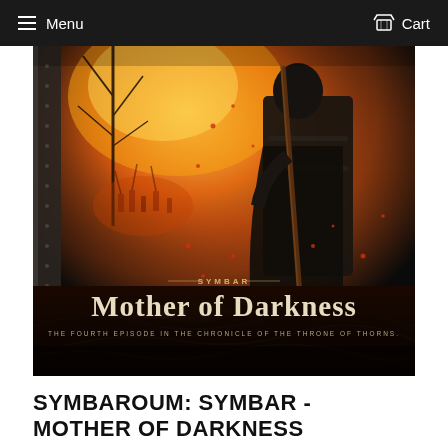Menu   Cart
[Figure (illustration): Fantasy book cover for Symbaroum: Symbar - Mother of Darkness. A dark armored warrior figure stands holding a long weapon against an orange/red fiery background with silhouettes of soldiers and bare trees. Text on image reads 'SYMBAR', 'Mother of Darkness' in gothic lettering, and 'THE FOURTH EPISODE IN THE CHRONICLE OF THE THRONE OF THORNS'.]
SYMBAROUM: SYMBAR - MOTHER OF DARKNESS